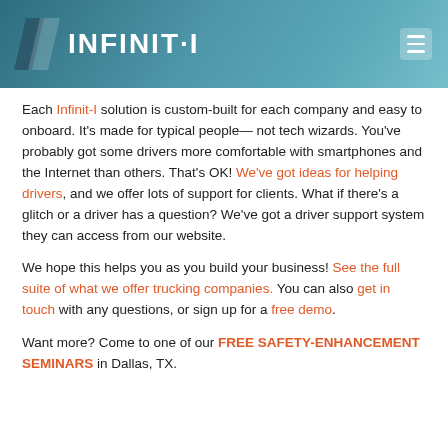INFINIT-I
Each Infinit-I solution is custom-built for each company and easy to onboard. It's made for typical people— not tech wizards. You've probably got some drivers more comfortable with smartphones and the Internet than others. That's OK! We've got ideas for helping drivers, and we offer lots of support for clients. What if there's a glitch or a driver has a question? We've got a driver support system they can access from our website.
We hope this helps you as you build your business! See the full suite of what we offer trucking companies. You can also get in touch with any questions, or sign up for a free demo.
Want more? Come to one of our FREE SAFETY-ENHANCEMENT SEMINARS in Dallas, TX.